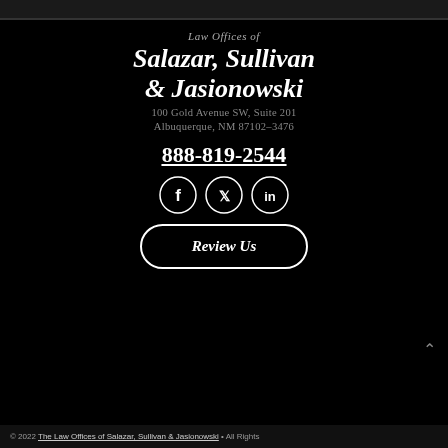Law Offices of Salazar, Sullivan & Jasionowski
100 Gold Avenue SW, Suite 201
Albuquerque, NM 87102-3476
888-819-2544
[Figure (illustration): Social media icons: Facebook, Twitter, LinkedIn in white circles on black background]
Review Us
© 2022 The Law Offices of Salazar, Sullivan & Jasionowski • All Rights